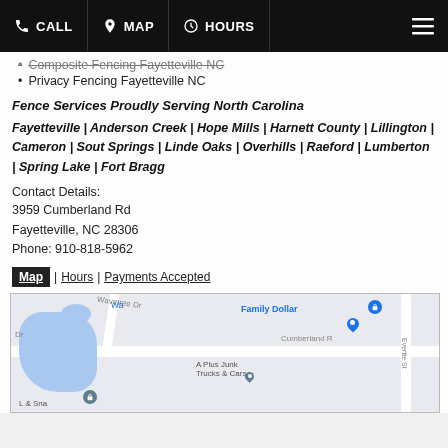CALL | MAP | HOURS
Composite Fencing Fayetteville NC
Privacy Fencing Fayetteville NC
Fence Services Proudly Serving North Carolina
Fayetteville | Anderson Creek | Hope Mills | Harnett County | Lillington | Cameron | Sout Springs | Linde Oaks | Overhills | Raeford | Lumberton | Spring Lake | Fort Bragg
Contact Details:
3959 Cumberland Rd
Fayetteville, NC 28306
Phone: 910-818-5962
Map | Hours | Payments Accepted
[Figure (map): Google Maps screenshot showing the area around 3959 Cumberland Rd, Fayetteville NC 28306, with nearby landmarks including Family Dollar, A Plus Junk Trucks & Cars, and street labels for Wavetree Dr, Cumberland Rd, Evertte St.]